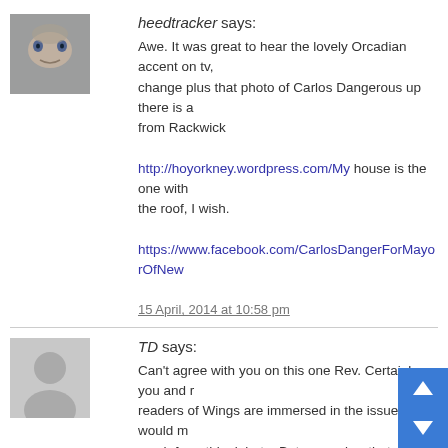heedtracker says: Awe. It was great to hear the lovely Orcadian accent on tv, change plus that photo of Carlos Dangerous up there is a from Rackwick

http://hoyorkney.wordpress.com/My house is the one with the roof, I wish.

https://www.facebook.com/CarlosDangerForMayorOfNew

15 April, 2014 at 10:58 pm
TD says: Can't agree with you on this one Rev. Certainly you and readers of Wings are immersed in the issues and would much from this debate. But remember that significant num people are yet to engage in the independence debate at too busy just living their lives. So to get them engaged, w have these debates even if to seasoned campaigners like appear to add no value. I am as angry about the media b anyone, but in this case I do not think the BBC can be cri more the issues are aired, the more the calm logi is likely to prevail.